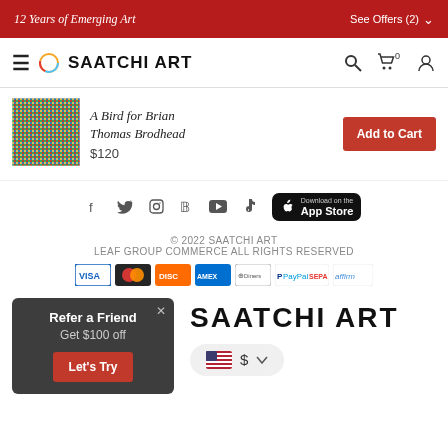12 Years of Emerging Art | See Offers (2)
[Figure (logo): Saatchi Art logo with navigation icons]
[Figure (photo): Product image: A Bird for Brian Thomas Brodhead artwork thumbnail]
A Bird for Brian Thomas Brodhead
$120
Add to Cart
[Figure (infographic): Social media icons: Facebook, Twitter, Instagram, Pinterest, YouTube, TikTok; App Store download button]
© 2022 SAATCHI ART
LEAF GROUP COMMERCE ALL RIGHTS RESERVED
[Figure (infographic): Payment method icons: Visa, Mastercard, Discover, American Express, Diners Club, PayPal, SEPA, Affirm]
Refer a Friend
Get $100 off
Let's Try
SAATCHI ART
[Figure (infographic): US flag currency selector showing $ with dropdown arrow]